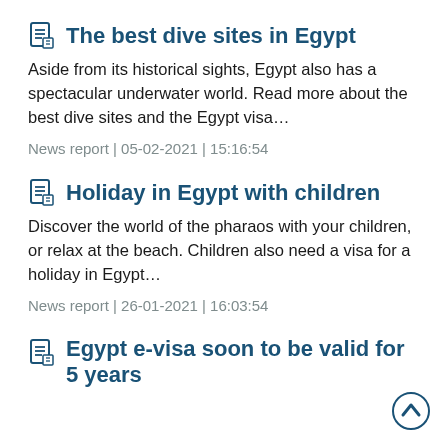The best dive sites in Egypt
Aside from its historical sights, Egypt also has a spectacular underwater world. Read more about the best dive sites and the Egypt visa…
News report | 05-02-2021 | 15:16:54
Holiday in Egypt with children
Discover the world of the pharaos with your children, or relax at the beach. Children also need a visa for a holiday in Egypt…
News report | 26-01-2021 | 16:03:54
Egypt e-visa soon to be valid for 5 years